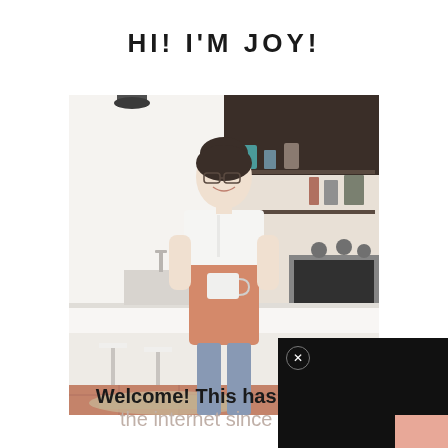HI! I'M JOY!
[Figure (photo): Woman smiling in a bright kitchen, wearing a white shirt and salmon/pink apron, holding a mug. Modern kitchen with white counters, open shelving, and bar stools in background.]
[Figure (screenshot): Black video player overlay panel with a circular close (x) button in the top left corner.]
Welcome! This has been my little corner of the internet since 2008!